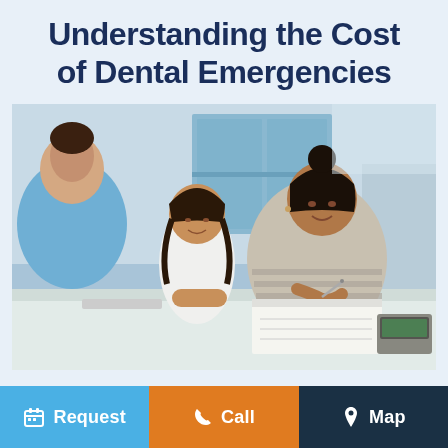Understanding the Cost of Dental Emergencies
[Figure (photo): A woman and a young girl sitting at a reception desk in a dental office, smiling. The woman is writing on a form. A dental staff member is seen from behind in the foreground.]
Request
Call
Map